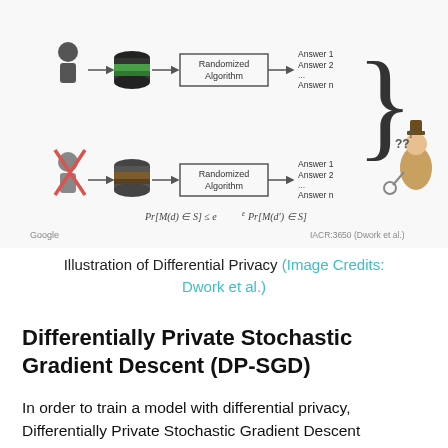[Figure (schematic): Illustration of differential privacy concept: two rows each showing a person icon, a database, a randomized algorithm box, and output answers (Answer 1, Answer 2, ..., Answer n). The top row shows a normal person; the bottom row shows the person crossed out. Both rows output to a curly brace on the right with a detective figure with question marks. A formula Pr[M(d) ∈ S] ≤ e^ε Pr[M(d') ∈ S] is shown at the bottom. Attribution: Google and IACR:3650 (Dwork et al.)]
Illustration of Differential Privacy (Image Credits: Dwork et al.)
Differentially Private Stochastic Gradient Descent (DP-SGD)
In order to train a model with differential privacy, Differentially Private Stochastic Gradient Descent